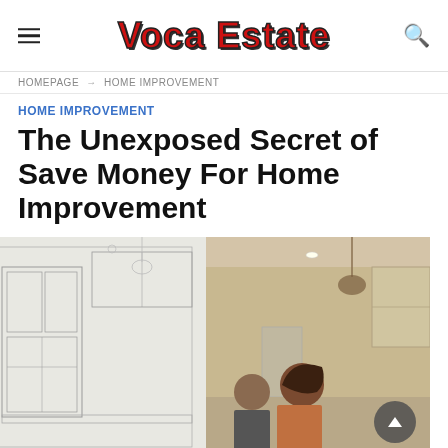Voca Estate
HOMEPAGE → HOME IMPROVEMENT
HOME IMPROVEMENT
The Unexposed Secret of Save Money For Home Improvement
[Figure (photo): Split image showing architectural blueprint drawing on left side transitioning to a real photo of a couple looking at a renovated kitchen interior on the right side]